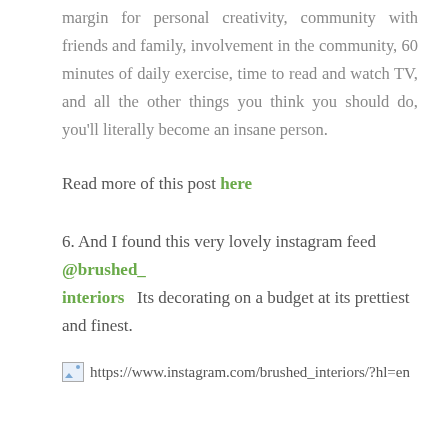margin for personal creativity, community with friends and family, involvement in the community, 60 minutes of daily exercise, time to read and watch TV, and all the other things you think you should do, you'll literally become an insane person.
Read more of this post here
6. And I found this very lovely instagram feed @brushed_interiors Its decorating on a budget at its prettiest and finest.
[Figure (other): Broken image placeholder with URL: https://www.instagram.com/brushed_interiors/?hl=en]